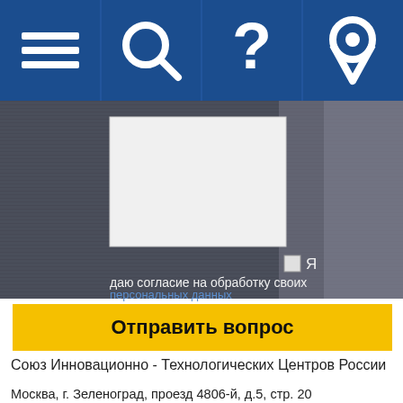[Figure (screenshot): Navigation bar with blue background containing hamburger menu icon, search/magnifying glass icon, question mark icon, and location pin icon in white]
[Figure (screenshot): Web form on dark blurred background with a large white text area input box, a checkbox with Я label, consent text 'даю согласие на обработку своих персональных данных' with link, and a yellow submit button 'Отправить вопрос']
Союз Инновационно - Технологических Центров России
Москва, г. Зеленоград, проезд 4806-й, д.5, стр. 20